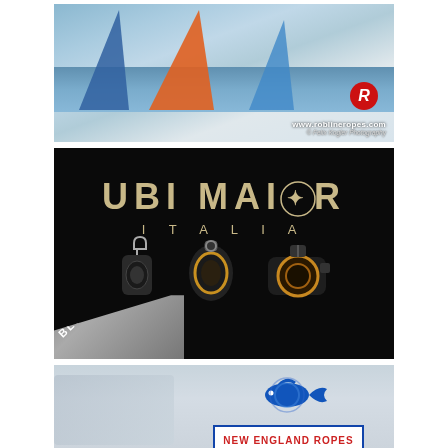[Figure (photo): Sailing race photo showing three sailboats with colorful spinnakers (blue, orange, blue) on choppy water. Robline Ropes logo with red circle R in bottom right. URL www.roblineopes.com and © Felix Kogler Photography credit shown.]
[Figure (photo): Ubi Maior Italia black catalog cover for Blocks product line. Gold/tan brand name 'UBI MAIOR ITALIA' at top. Three sailing blocks/pulleys displayed: small shackle pulley, oval block, and ratchet block. Diagonal 'BLOCKS' silver banner in lower left corner.]
[Figure (logo): New England Ropes advertisement with foggy background scene. Logo shows stylized whale/fish graphic above a white box with blue border containing red text 'NEW ENGLAND ROPES'.]